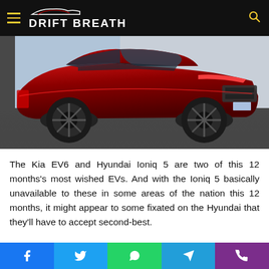DRIFT BREATH
[Figure (photo): A red Kia EV6 electric vehicle photographed at a low angle on a gray asphalt surface, showing the front and side profile]
The Kia EV6 and Hyundai Ioniq 5 are two of this 12 months's most wished EVs. And with the Ioniq 5 basically unavailable to these in some areas of the nation this 12 months, it might appear to some fixated on the Hyundai that they'll have to accept second-best.
After spending time just lately in each of those fashions, I can